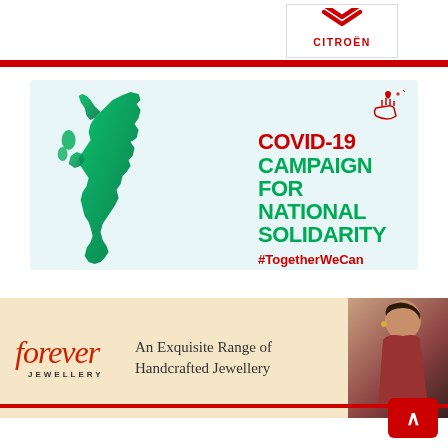[Figure (logo): Citroën logo with chevron symbol and brand name in red]
[Figure (infographic): COVID-19 Campaign for National Solidarity banner featuring a green map of the United Kingdom on a light blue background, with red text 'COVID-19', green text 'CAMPAIGN FOR NATIONAL SOLIDARITY', red hashtag '#TogetherWeCan', and MCF logo at bottom right. A heart-in-hand icon appears at top right.]
[Figure (infographic): Forever Jewellery advertisement banner with cursive 'forever JEWELLERY' logo on left, text 'An Exquisite Range of Handcrafted Jewellery' in center, and a photo of a woman wearing jewellery on the right. Beige/cream background.]